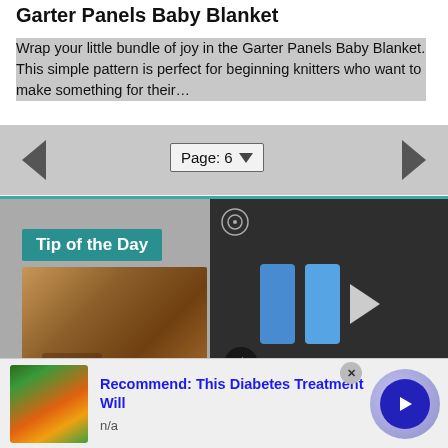Garter Panels Baby Blanket
Wrap your little bundle of joy in the Garter Panels Baby Blanket. This simple pattern is perfect for beginning knitters who want to make something for their…
[Figure (screenshot): Page navigation control showing left arrow, 'Page: 6' dropdown selector, and right arrow on gray background]
[Figure (screenshot): Tip of the Day section with teal banner, food/cinnamon image, and video overlay with blue play bars and mute button. Bottom right shows partial 'the' text in red.]
[Figure (infographic): Advertisement bar: food/plant image on left, blue bold text 'Recommend: This Diabetes Treatment Will', subtext 'n/a', close X button, and blue arrow circle button on right.]